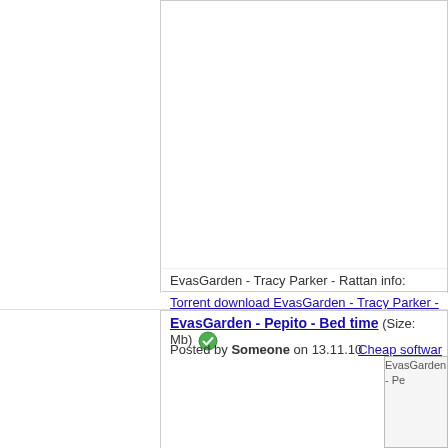EvasGarden - Tracy Parker - Rattan info:
Torrent download EvasGarden - Tracy Parker - Rattan
EvasGarden - Pepito - Bed time (Size: Mb)
Posted by Someone on 13.11.10
Cheap softwar
[Figure (screenshot): Partially visible image placeholder labeled EvasGarden - Pe]